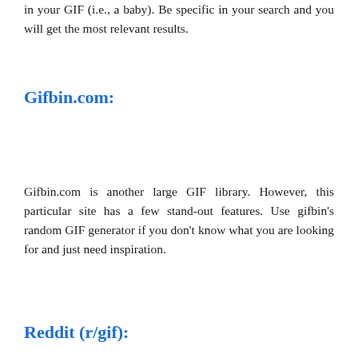in your GIF (i.e., a baby). Be specific in your search and you will get the most relevant results.
Gifbin.com:
Gifbin.com is another large GIF library. However, this particular site has a few stand-out features. Use gifbin's random GIF generator if you don't know what you are looking for and just need inspiration.
Reddit (r/gif):